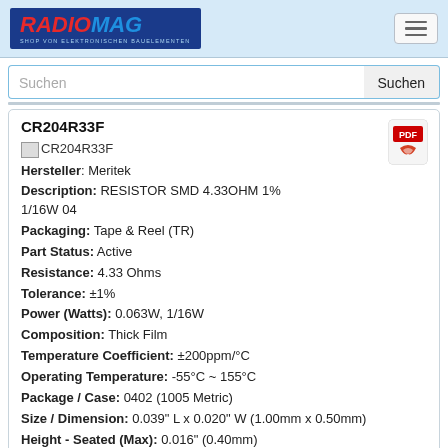RADIOMAG - SHOP VON ELEKTRONISCHEN BAUELEMENTEN
Suchen
CR204R33F
[Figure (other): PDF icon - red Adobe PDF logo]
CR204R33F
Hersteller: Meritek
Description: RESISTOR SMD 4.33OHM 1% 1/16W 04
Packaging: Tape & Reel (TR)
Part Status: Active
Resistance: 4.33 Ohms
Tolerance: ±1%
Power (Watts): 0.063W, 1/16W
Composition: Thick Film
Temperature Coefficient: ±200ppm/°C
Operating Temperature: -55°C ~ 155°C
Package / Case: 0402 (1005 Metric)
Size / Dimension: 0.039" L x 0.020" W (1.00mm x 0.50mm)
Height - Seated (Max): 0.016" (0.40mm)
Number of Terminations: 2
Produkt ist nicht verfügbar, Sie können Anfrage senden wenn Sie Produkt in den Warenkorb hinzufügen